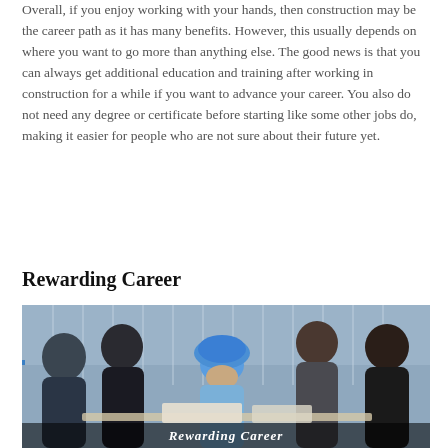Overall, if you enjoy working with your hands, then construction may be the career path as it has many benefits. However, this usually depends on where you want to go more than anything else. The good news is that you can always get additional education and training after working in construction for a while if you want to advance your career. You also do not need any degree or certificate before starting like some other jobs do, making it easier for people who are not sure about their future yet.
Rewarding Career
[Figure (photo): A group of five people — professionals and a construction worker wearing a blue hard hat — gathered around a table looking at documents. Office/glass building background.]
Rewarding Career